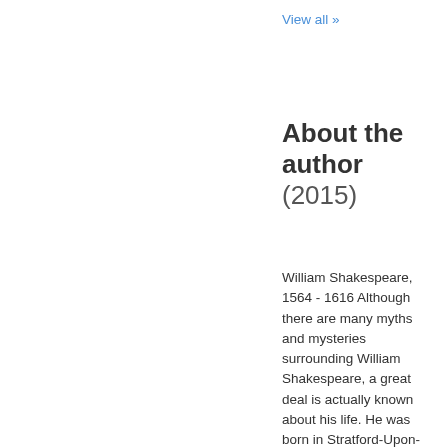View all »
About the author (2015)
William Shakespeare, 1564 - 1616 Although there are many myths and mysteries surrounding William Shakespeare, a great deal is actually known about his life. He was born in Stratford-Upon-Avon, son of John Shakespeare, a prosperous merchant and local politician and Mary Arden, who had the wealth to send their oldest son to Stratford Grammar School. At 18,